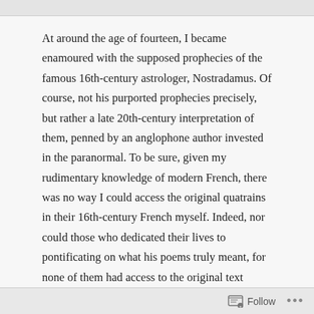At around the age of fourteen, I became enamoured with the supposed prophecies of the famous 16th-century astrologer, Nostradamus. Of course, not his purported prophecies precisely, but rather a late 20th-century interpretation of them, penned by an anglophone author invested in the paranormal. To be sure, given my rudimentary knowledge of modern French, there was no way I could access the original quatrains in their 16th-century French myself. Indeed, nor could those who dedicated their lives to pontificating on what his poems truly meant, for none of them had access to the original text either. But no
Follow ...